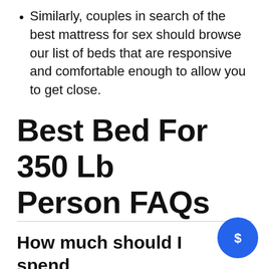Similarly, couples in search of the best mattress for sex should browse our list of beds that are responsive and comfortable enough to allow you to get close.
Best Bed For 350 Lb Person FAQs
How much should I spend on a mattress?